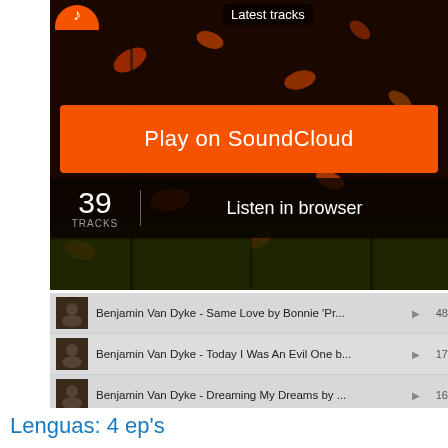Latest tracks
[Figure (screenshot): SoundCloud embedded player widget showing autumn leaves background with 'Play on SoundCloud' orange button, 39 TRACKS count, and 'Listen in browser' option]
Benjamin Van Dyke - Same Love by Bonnie 'Pr... ▶ 483
Benjamin Van Dyke - Today I Was An Evil One b... ▶ 178
Benjamin Van Dyke - Dreaming My Dreams by ... ▶ 165
Benjamin Van Dyke - After I Made Love To You... ▶ 210
Privacy policy
Lenguas: 4 ep's